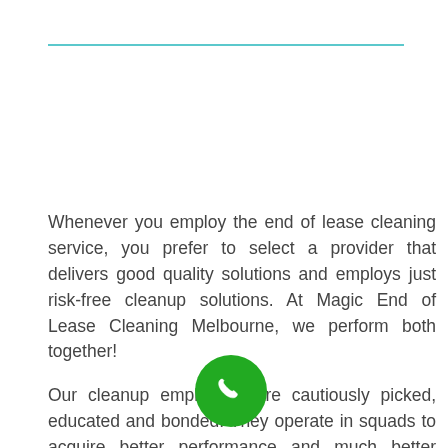Whenever you employ the end of lease cleaning service, you prefer to select a provider that delivers good quality solutions and employs just risk-free cleanup solutions. At Magic End of Lease Cleaning Melbourne, we perform both together!
Our cleanup employees are cautiously picked, educated and bonded. They operate in squads to acquire better performance and much better cleaning. We additionally back our tidying solutions with a satisfaction money back guarantee. In case